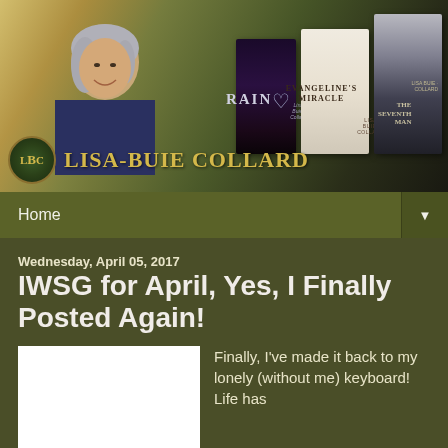[Figure (photo): Website header banner for Lisa-Buie Collard author blog, showing a smiling woman with gray hair against a forest background, three book covers (Rain, Evangeline's Miracle, The Seventh Man), and the LBC logo with the author's name in gold text.]
Home ▼
Wednesday, April 05, 2017
IWSG for April, Yes, I Finally Posted Again!
[Figure (photo): White/blank image placeholder in the blog post]
Finally, I've made it back to my lonely (without me) keyboard! Life has